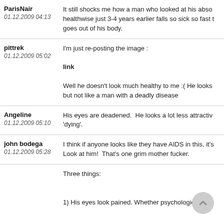ParisNair
01.12.2009 04:13
It still shocks me how a man who looked at his abso healthwise just 3-4 years earlier falls so sick so fast t goes out of his body.
pittrek
01.12.2009 05:02
I'm just re-posting the image :
link
Well he doesn't look much healthy to me :( He looks but not like a man with a deadly disease
Angeline
01.12.2009 05:10
His eyes are deadened.  He looks a lot less attractiv 'dying'.
john bodega
01.12.2009 05:28
I think if anyone looks like they have AIDS in this, it's Look at him!  That's one grim mother fucker.
Three things:

1) His eyes look pained. Whether psychologically or